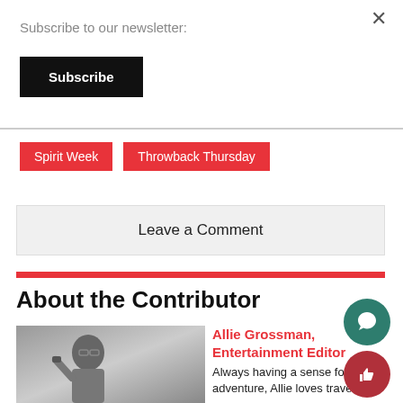Subscribe to our newsletter:
Subscribe
Spirit Week
Throwback Thursday
Leave a Comment
About the Contributor
[Figure (photo): Black and white photo of a young woman with glasses]
Allie Grossman, Entertainment Editor
Always having a sense for adventure, Allie loves traveling